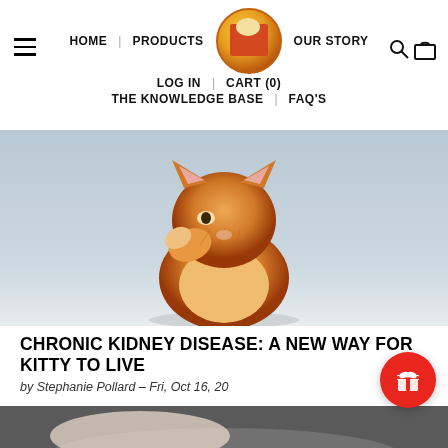HOME  PRODUCTS  OUR STORY  LOG IN  CART (0)  THE KNOWLEDGE BASE  FAQ'S
[Figure (photo): Orange fluffy kitten sitting on a light blue/grey background, raising one paw to its face as if covering its eyes or grooming]
CHRONIC KIDNEY DISEASE: A NEW WAY FOR KITTY TO LIVE
by Stephanie Pollard - Fri, Oct 16, 20
[Figure (photo): Partial view of a second image, appears to show a person holding a cat, cropped at bottom of page]